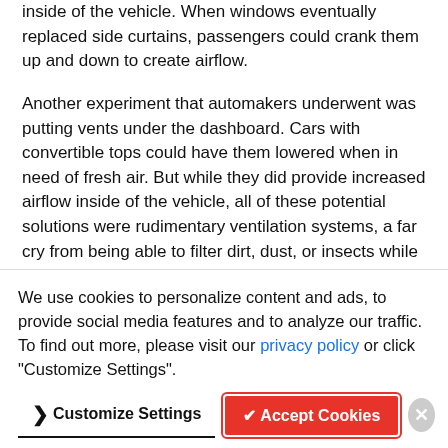inside of the vehicle. When windows eventually replaced side curtains, passengers could crank them up and down to create airflow.
Another experiment that automakers underwent was putting vents under the dashboard. Cars with convertible tops could have them lowered when in need of fresh air. But while they did provide increased airflow inside of the vehicle, all of these potential solutions were rudimentary ventilation systems, a far cry from being able to filter dirt, dust, or insects while driving.
Perhaps the most interesting attempt at developing a cooling system for an automobile can be attributed to William Whiteley. In 1884, Whiteley suggested mounting blocks of ice under horse-drawn carriages. A fan was then attached to the
axle, and it blew the air over the ice block and inside the carriage. However, the forums the system required many...
We use cookies to personalize content and ads, to provide social media features and to analyze our traffic. To find out more, please visit our privacy policy or click "Customize Settings".